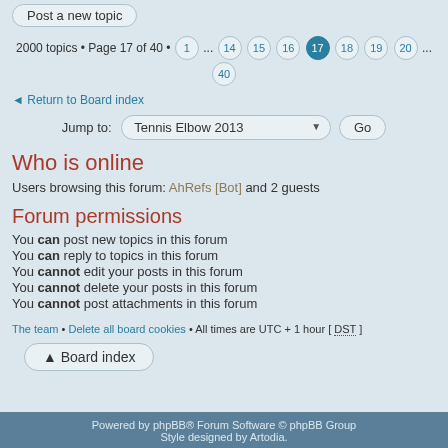Post a new topic
2000 topics • Page 17 of 40 • 1 ... 14 15 16 17 18 19 20 ... 40
Return to Board index
Jump to: Tennis Elbow 2013 Go
Who is online
Users browsing this forum: AhRefs [Bot] and 2 guests
Forum permissions
You can post new topics in this forum
You can reply to topics in this forum
You cannot edit your posts in this forum
You cannot delete your posts in this forum
You cannot post attachments in this forum
The team • Delete all board cookies • All times are UTC + 1 hour [ DST ]
Board index
Powered by phpBB® Forum Software © phpBB Group Style designed by Artodia.